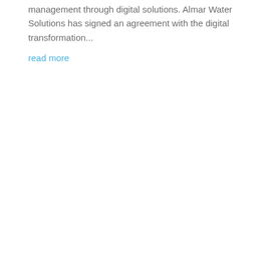management through digital solutions. Almar Water Solutions has signed an agreement with the digital transformation...
read more